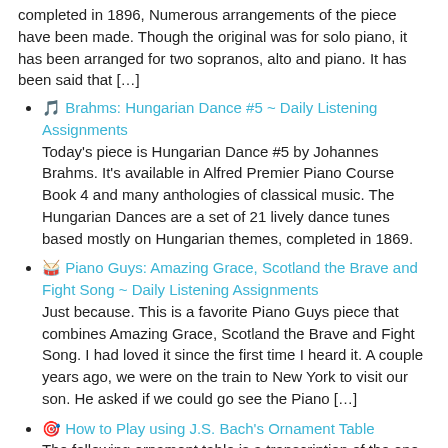completed in 1896, Numerous arrangements of the piece have been made. Though the original was for solo piano, it has been arranged for two sopranos, alto and piano. It has been said that […]
🎵 Brahms: Hungarian Dance #5 ~ Daily Listening Assignments
Today's piece is Hungarian Dance #5 by Johannes Brahms. It's available in Alfred Premier Piano Course Book 4 and many anthologies of classical music. The Hungarian Dances are a set of 21 lively dance tunes based mostly on Hungarian themes, completed in 1869.
🥁 Piano Guys: Amazing Grace, Scotland the Brave and Fight Song ~ Daily Listening Assignments
Just because. This is a favorite Piano Guys piece that combines Amazing Grace, Scotland the Brave and Fight Song. I had loved it since the first time I heard it. A couple years ago, we were on the train to New York to visit our son. He asked if we could go see the Piano […]
🎯 How to Play using J.S. Bach's Ornament Table
The following ornament table is a transcription of the one appearing in the Clavier-Büchlein vor Wilhelm Friedemann Bach,